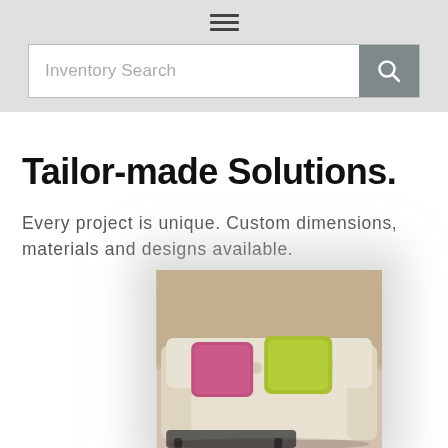☰ Inventory Search
Tailor-made Solutions.
Every project is unique. Custom dimensions, materials and designs available.
[Figure (photo): A floral-patterned sofa with pink and yellow-green throw pillows, partially visible, with a dark coffee table in front.]